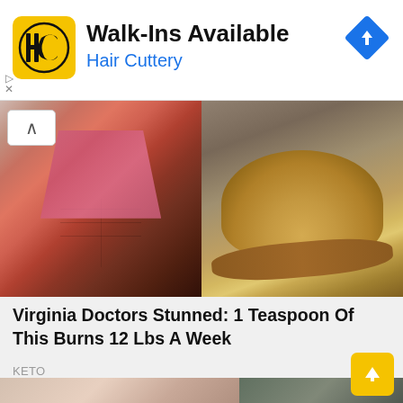[Figure (logo): Hair Cuttery advertisement banner with HC logo in yellow square, Walk-Ins Available heading, Hair Cuttery subtitle in blue, and blue diamond navigation icon]
[Figure (photo): Two photos side by side: left shows fit woman in pink sports bra showing abs, right shows wooden spoon with brown powder (spice or supplement)]
Virginia Doctors Stunned: 1 Teaspoon Of This Burns 12 Lbs A Week
KETO
[Figure (photo): Bottom strip showing two photos: left shows blonde woman, right shows blurred green background]